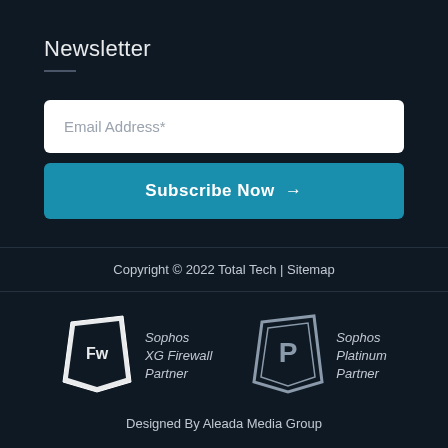Newsletter
Email Address*
Subscribe Now →
Copyright © 2022 Total Tech | Sitemap
[Figure (logo): Sophos XG Firewall Partner logo with 'Fw' icon in angular white shape]
Sophos XG Firewall Partner
[Figure (logo): Sophos Platinum Partner logo with 'P' icon in angular grey shield shape]
Sophos Platinum Partner
Designed By Aleada Media Group